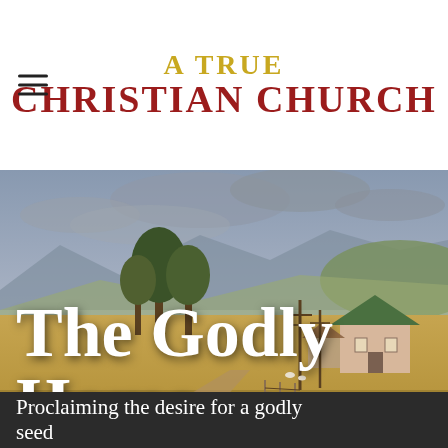A True Christian Church
[Figure (photo): Landscape photo of rural farmland with golden fields, scattered trees, a small pink farmhouse with green roof, dirt road, telephone poles, and mountains with cloudy sky in the background.]
The Godly Home
Proclaiming the desire for a godly seed